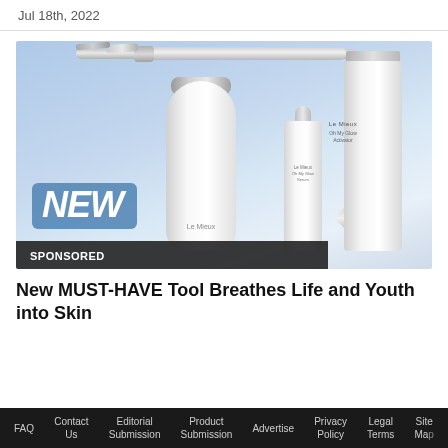Jul 18th, 2022
[Figure (photo): Advertisement photo showing Le Mieux skincare products including an airbrush device, a tall lotion bottle labeled Le Mieux Oh My Glow Activator, a serum dropper bottle labeled Le Mieux Oh My Glow Serum, and a white electronic airbrush tool. A blue badge in the lower left reads NEW. A dark bar overlay reads SPONSORED.]
New MUST-HAVE Tool Breathes Life and Youth into Skin
FAQ   Contact Us   Editorial Submission   Product Submission   Advertise   Privacy Policy   Legal Terms   Site Map